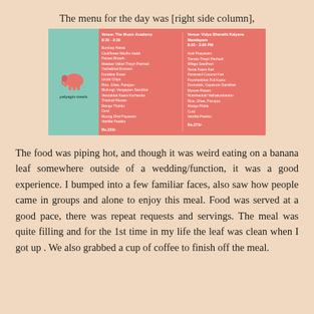The menu for the day was [right side column],
[Figure (infographic): Menu card for Palyagin meals service showing two venue columns: Venue: The Music Academy 8:30-2:30 with items including Bombay Halwa, Cauliflower Medhu Vadai, Pattani Bhaat, Malabar Vallari Thayir Pachadi, Yachaikkai Erusseri, Korakkai Roast, Urulai Chips, Rice Ghee Paruppu, Mullungi Vengayam Sambhar, Vendakkai Kaara Kurhambu, Thakkali Rasam, Mango Thokku, Curd, Moong Dhal Payasam, Vetrillai Paakku for Rs.220/-; Venue: Vidya Bharathi Kalyana Mandapam 8:00-3:00 PM with items including Aval Paayasam, Tomato Thayir Pachadi, Milagu Seedham, Senai Kaara Kari, Karamani Coconut Kari, Pooshanikkai Puli Kootu, Drumstick Capsicum Sambhar, Mysore Rasam, Nranthankali Vathakushambu, Rice Ghee Paruppu, Mango Pickle, Curd, Vetrillai Paakku for Rs.275/-. Features a pink elephant logo and 'palyagin meals' branding on teal background.]
The food was piping hot, and though it was weird eating on a banana leaf somewhere outside of a wedding/function, it was a good experience. I bumped into a few familiar faces, also saw how people came in groups and alone to enjoy this meal. Food was served at a good pace, there was repeat requests and servings. The meal was quite filling and for the 1st time in my life the leaf was clean when I got up . We also grabbed a cup of coffee to finish off the meal.